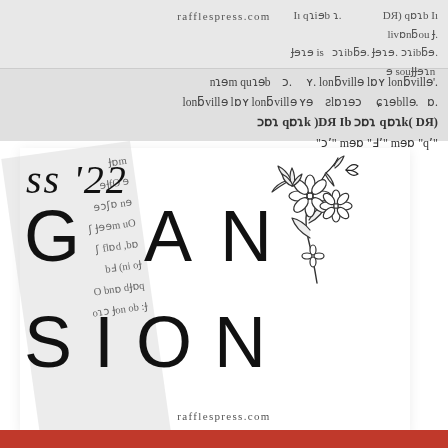[Figure (infographic): Stylized promotional graphic for 'ss 22 G AN SION' (likely 'Grass Expansion') overlaid on mirrored newspaper text background, with a floral illustration accent and rafflespress.com watermark]
rafflespress.com
rafflespress.com